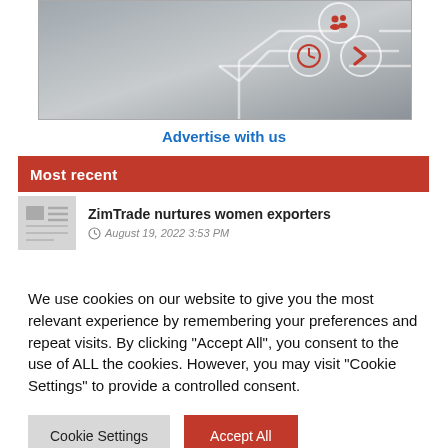[Figure (illustration): Gray metallic background with white circuit-line graphics and red circular icons showing people, clock, and arrow symbols — an advertisement banner graphic]
Advertise with us
Most recent
[Figure (illustration): Thumbnail icon showing newspaper/document lines graphic in gray]
ZimTrade nurtures women exporters
August 19, 2022 3:53 PM
We use cookies on our website to give you the most relevant experience by remembering your preferences and repeat visits. By clicking "Accept All", you consent to the use of ALL the cookies. However, you may visit "Cookie Settings" to provide a controlled consent.
Cookie Settings
Accept All